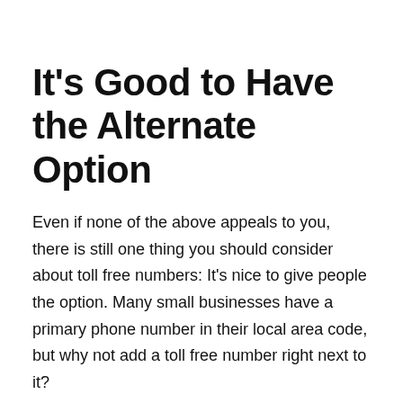It's Good to Have the Alternate Option
Even if none of the above appeals to you, there is still one thing you should consider about toll free numbers: It's nice to give people the option. Many small businesses have a primary phone number in their local area code, but why not add a toll free number right next to it?
Firstly, it makes your business appear bigger, and